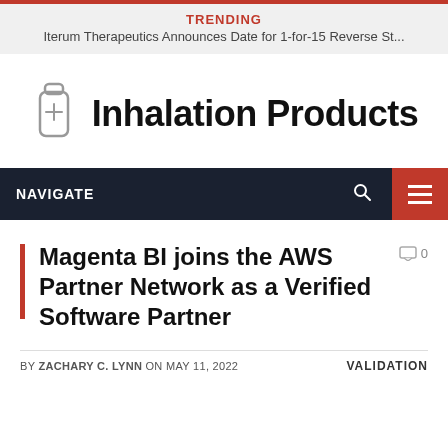TRENDING
Iterum Therapeutics Announces Date for 1-for-15 Reverse St...
[Figure (logo): Inhalation Products logo with inhaler icon]
NAVIGATE
Magenta BI joins the AWS Partner Network as a Verified Software Partner
BY ZACHARY C. LYNN ON MAY 11, 2022   VALIDATION